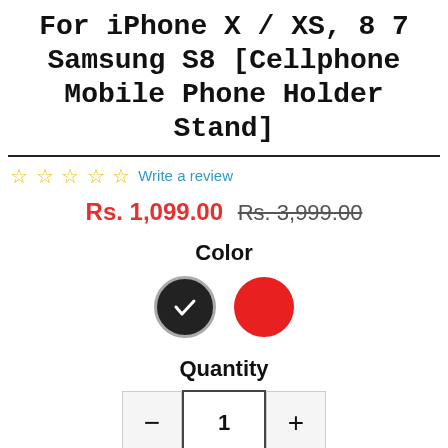For iPhone X / XS, 8 7 Samsung S8 [Cellphone Mobile Phone Holder Stand]
Write a review
Rs. 1,099.00 Rs. 3,999.00
Color
[Figure (other): Two color option circles: black (selected with checkmark) and red]
Quantity
- 1 +
Add to Cart
Buy Now